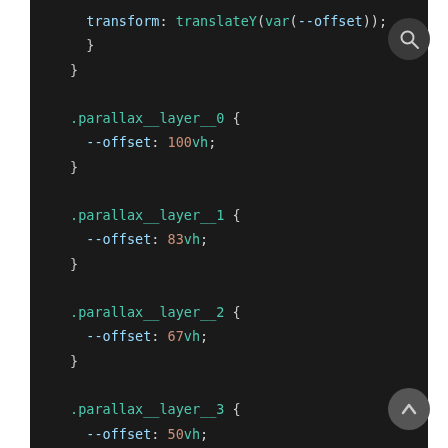[Figure (screenshot): Code editor screenshot showing CSS parallax layer definitions with dark background. Contains CSS rules for .parallax__layer__0 through .parallax__layer__4 with --offset values of 100vh, 83vh, 67vh, 50vh, and 34vh respectively. Also shows closing braces from a previous rule with transform: translateY(var(--offset)).]